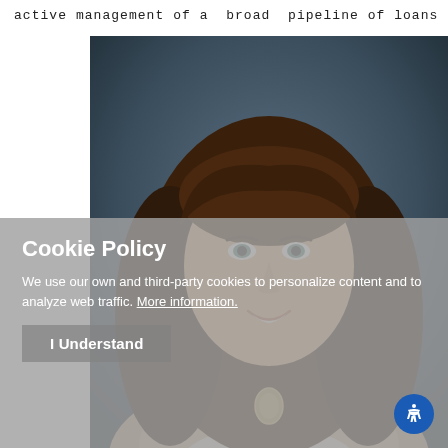active management of a broad pipeline of loans –
[Figure (photo): Professional headshot of a woman with long brown hair, wearing a light-colored blazer over a white lace top with a gold pendant necklace, smiling against a dark blurred background.]
Cookie Policy
We use our own and third-party cookies to personalize content and to analyze web traffic. More information.
I Understand